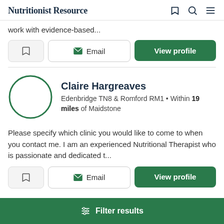Nutritionist Resource
work with evidence-based...
Email | View profile
Claire Hargreaves
Edenbridge TN8 & Romford RM1 • Within 19 miles of Maidstone
Please specify which clinic you would like to come to when you contact me. I am an experienced Nutritional Therapist who is passionate and dedicated t...
Email | View profile
Filter results